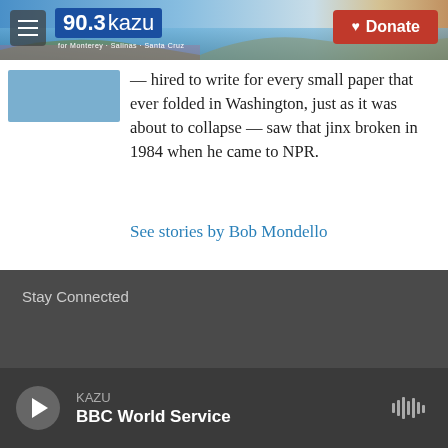[Figure (screenshot): KAZU 90.3 radio station website header with logo, hamburger menu, and Donate button over a coastal background photo]
— hired to write for every small paper that ever folded in Washington, just as it was about to collapse — saw that jinx broken in 1984 when he came to NPR.
See stories by Bob Mondello
Stay Connected
KAZU
BBC World Service